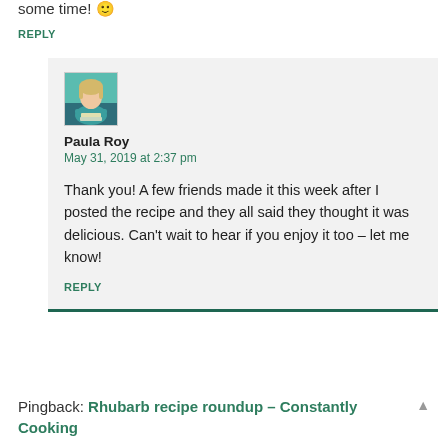some time! 🙂
REPLY
[Figure (photo): Avatar photo of Paula Roy, a woman with blonde hair wearing a teal top]
Paula Roy
May 31, 2019 at 2:37 pm
Thank you! A few friends made it this week after I posted the recipe and they all said they thought it was delicious. Can't wait to hear if you enjoy it too – let me know!
REPLY
Pingback: Rhubarb recipe roundup – Constantly Cooking